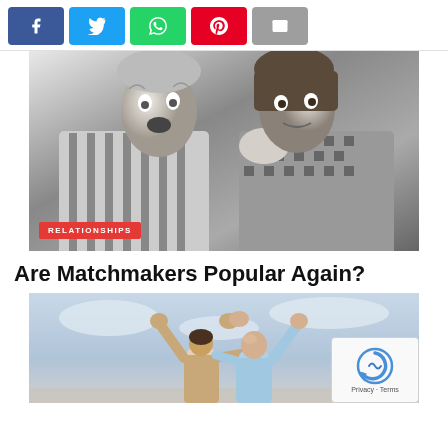[Figure (other): Social share buttons: Facebook (blue), Twitter (light blue), WhatsApp (green), Pinterest (red), Email (gray)]
[Figure (photo): Black and white vintage photo of two women, one whispering to the other with a surprised expression. A red 'RELATIONSHIPS' tag overlaid at the bottom left.]
Are Matchmakers Popular Again?
[Figure (photo): Color photo of a couple (woman and bald man) seen from behind, holding hands with arms raised in celebration against a cloudy sky. A reCAPTCHA widget overlaid at the bottom right showing 'Privacy - Terms'.]